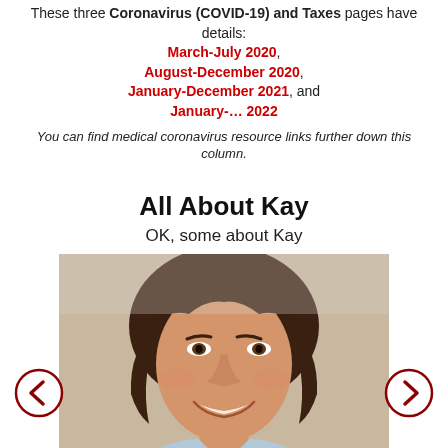These three Coronavirus (COVID-19) and Taxes pages have details:
March-July 2020,
August-December 2020,
January-December 2021, and
January-… 2022
You can find medical coronavirus resource links further down this column.
All About Kay
OK, some about Kay
[Figure (photo): Headshot of a woman with dark brown hair, smiling, wearing a light blue top]